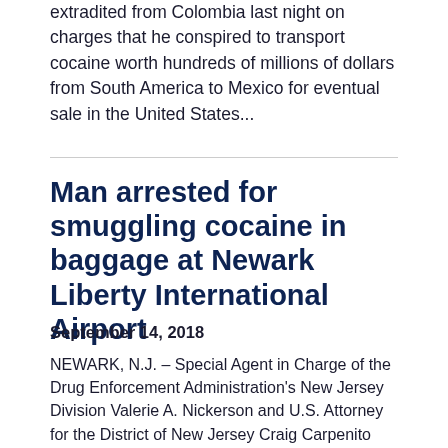extradited from Colombia last night on charges that he conspired to transport cocaine worth hundreds of millions of dollars from South America to Mexico for eventual sale in the United States...
Man arrested for smuggling cocaine in baggage at Newark Liberty International Airport
September 14, 2018
NEWARK, N.J. – Special Agent in Charge of the Drug Enforcement Administration's New Jersey Division Valerie A. Nickerson and U.S. Attorney for the District of New Jersey Craig Carpenito today announced a resident of Puerto Rico was charged with attempting to smuggle more than 10 kilograms of cocaine into the...